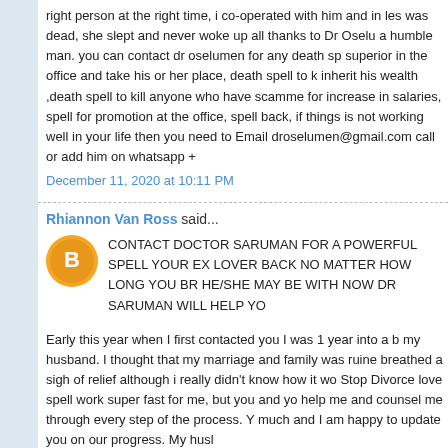right person at the right time, i co-operated with him and in les was dead, she slept and never woke up all thanks to Dr Oselu a humble man. you can contact dr oselumen for any death sp superior in the office and take his or her place, death spell to k inherit his wealth ,death spell to kill anyone who have scamme for increase in salaries, spell for promotion at the office, spell back, if things is not working well in your life then you need to Email droselumen@gmail.com call or add him on whatsapp +
December 11, 2020 at 10:11 PM
Rhiannon Van Ross said...
CONTACT DOCTOR SARUMAN FOR A POWERFUL SPELL YOUR EX LOVER BACK NO MATTER HOW LONG YOU BR HE/SHE MAY BE WITH NOW DR SARUMAN WILL HELP YO
Early this year when I first contacted you I was 1 year into a b my husband. I thought that my marriage and family was ruine breathed a sigh of relief although i really didn't know how it wo Stop Divorce love spell work super fast for me, but you and yo help me and counsel me through every step of the process. Y much and I am happy to update you on our progress. My husl